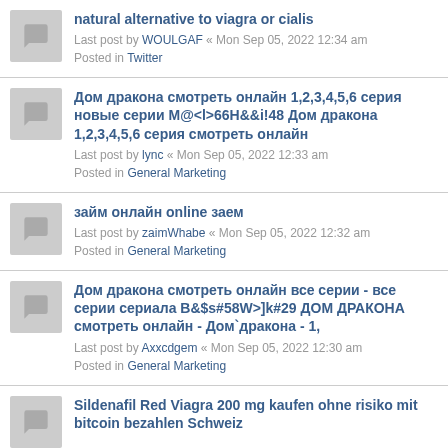natural alternative to viagra or cialis
Last post by WOULGAF « Mon Sep 05, 2022 12:34 am
Posted in Twitter
Дом дракона смотреть онлайн 1,2,3,4,5,6 серия новые серии М@<l>66H&&i!48 Дом дракона 1,2,3,4,5,6 серия смотреть онлайн
Last post by lync « Mon Sep 05, 2022 12:33 am
Posted in General Marketing
займ онлайн online заем
Last post by zaimWhabe « Mon Sep 05, 2022 12:32 am
Posted in General Marketing
Дом дракона смотреть онлайн все серии - все серии сериала B&$s#58W>]k#29 ДОМ ДРАКОНА смотреть онлайн - Дом`дракона - 1,
Last post by Axxcdgem « Mon Sep 05, 2022 12:30 am
Posted in General Marketing
Sildenafil Red Viagra 200 mg kaufen ohne risiko mit bitcoin bezahlen Schweiz